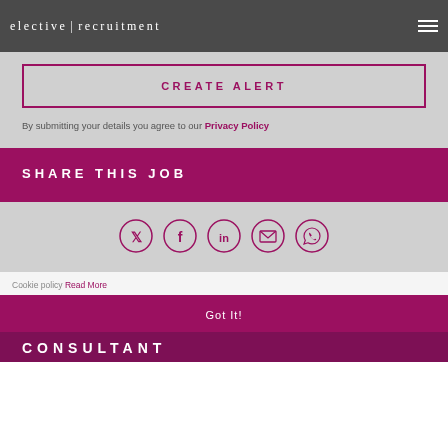elective | recruitment
CREATE ALERT
By submitting your details you agree to our Privacy Policy
SHARE THIS JOB
[Figure (infographic): Social sharing icons: Twitter, Facebook, LinkedIn, Email, WhatsApp — each in a circular outline in magenta/purple color]
Cookie policy Read More
Got It!
CONSULTANT